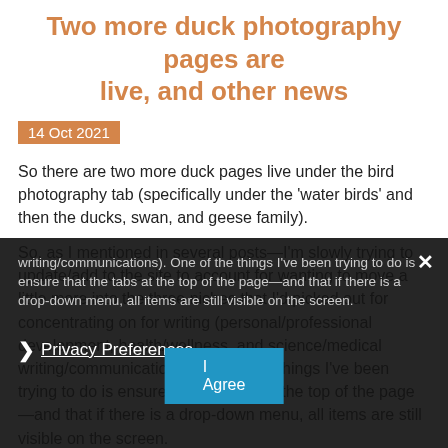Two more duck photography pages are live, and other news
14 Oct 2021
So there are two more duck pages live under the bird photography tab (specifically under the 'water birds' and then the ducks, swan, and geese family).
So, as I mentioned in several posts—I'm slowly trying to update/add to the site to account for wanting to move a little more into the three niches that I'd picked out for concentrating on for writing (personal/professional development, health/wellness, and science/medical writing/communications). One of the things I've been trying to do is ensure that the tabs at the top of the page—and that if there is a drop-down menu, all items are still visible on the screen.
Privacy Preferences
I Agree